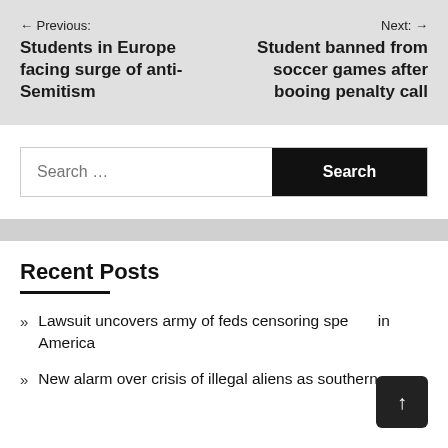← Previous: Students in Europe facing surge of anti-Semitism
Next: → Student banned from soccer games after booing penalty call
Search ...
Recent Posts
Lawsuit uncovers army of feds censoring speech in America
New alarm over crisis of illegal aliens as southern